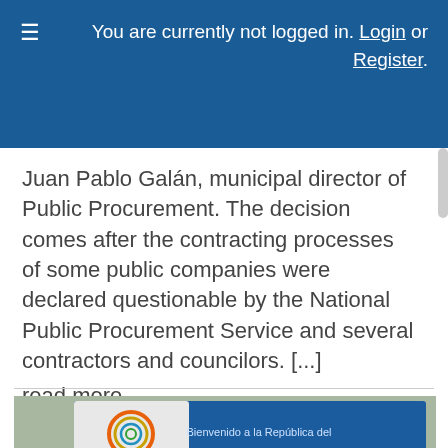You are currently not logged in. Login or Register.
Juan Pablo Galán, municipal director of Public Procurement. The decision comes after the contracting processes of some public companies were declared questionable by the National Public Procurement Service and several contractors and councilors. [...] read more
[Figure (photo): Border sign showing 'Bienvenido a la República del ECUADOR' in blue and 'Gracias por visitar la República de COLOMBIA' in green, with Ecuador tourism logo.]